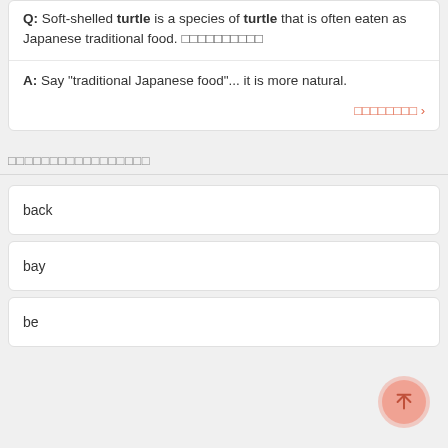Q: Soft-shelled turtle is a species of turtle that is often eaten as Japanese traditional food. □□□□□□□□□□
A: Say "traditional Japanese food"... it is more natural.
□□□□□□□□ >
□□□□□□□□□□□□□□□□□
back
bay
be